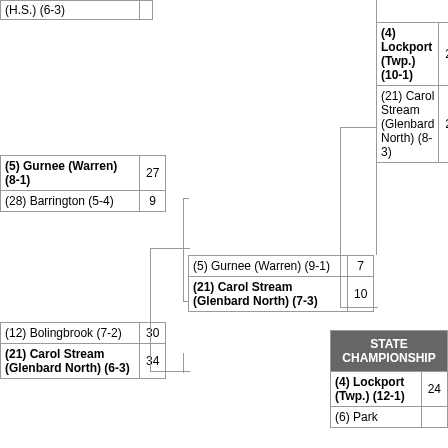[Figure (flowchart): Sports playoff bracket showing teams and scores. Top-left partial entry shows (H.S.) (6-3). Left column entries: (5) Gurnee (Warren) (8-1) scored 27, (28) Barrington (5-4) scored 9. Middle entries: (5) Gurnee (Warren) (9-1) scored 7, (21) Carol Stream (Glenbard North) (7-3) scored 10. Lower left: (12) Bolingbrook (7-2) scored 30, (21) Carol Stream (Glenbard North) (6-3) scored 34. Right top: (4) Lockport (Twp.) (10-1) scored 28, (21) Carol Stream (Glenbard North) (8-3) scored 22. State Championship box shows (4) Lockport (Twp.) (12-1) scored 24, (6) Park (partial).]